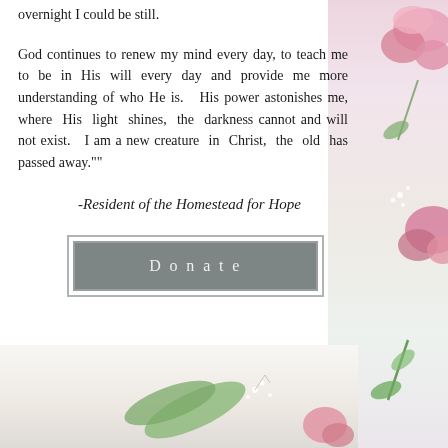overnight I could be still.
God continues to renew my mind every day, to teach me to be in His will every day and provide me more understanding of who He is.  His power astonishes me, where His light shines, the darkness cannot and will not exist.  I am a new creature in Christ, the old has passed away.""
-Resident of the Homestead for Hope
[Figure (other): Donate button — grey rectangle with white text reading 'Donate']
[Figure (photo): Bottom portion of a floral flat-lay photo with green leaves, small white flowers, and a pink flower petal on a white surface]
[Figure (photo): Right-side decorative floral photo strip showing pink flowers, green leaves and stems on a light background]